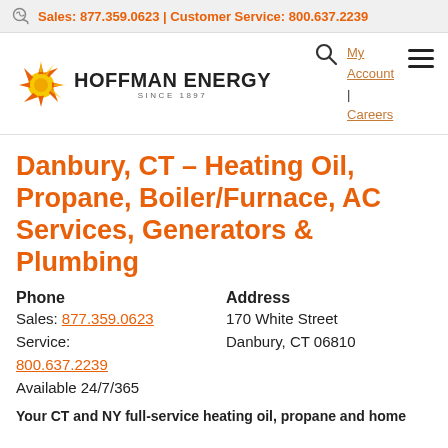Sales: 877.359.0623 | Customer Service: 800.637.2239
[Figure (logo): Hoffman Energy logo with orange sunburst icon and bold text 'HOFFMAN ENERGY' with 'SINCE 1897' below]
My Account | Careers
Danbury, CT – Heating Oil, Propane, Boiler/Furnace, AC Services, Generators & Plumbing
Phone
Sales: 877.359.0623
Service:
800.637.2239
Available 24/7/365
Address
170 White Street
Danbury, CT 06810
Your CT and NY full-service heating oil, propane and home